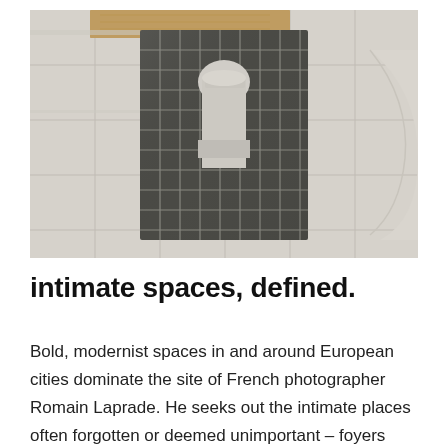[Figure (photo): Architectural interior photo showing a marble-tiled floor with a dark (black/dark green) tiled inset rectangle framed by white grout lines, with a stone or marble pedestal/column base in the center and a curved marble element on the right side. Warm wooden surface visible at the top.]
intimate spaces, defined.
Bold, modernist spaces in and around European cities dominate the site of French photographer Romain Laprade. He seeks out the intimate places often forgotten or deemed unimportant – foyers and entry halls – transition spaces that are too often seen as a luxury. It is these spaces that in reality allow a building to breathe,